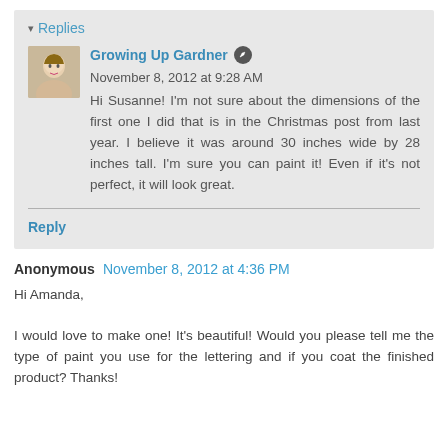Replies
Growing Up Gardner  November 8, 2012 at 9:28 AM
Hi Susanne! I'm not sure about the dimensions of the first one I did that is in the Christmas post from last year. I believe it was around 30 inches wide by 28 inches tall. I'm sure you can paint it! Even if it's not perfect, it will look great.
Reply
Anonymous  November 8, 2012 at 4:36 PM
Hi Amanda,
I would love to make one! It's beautiful! Would you please tell me the type of paint you use for the lettering and if you coat the finished product? Thanks!